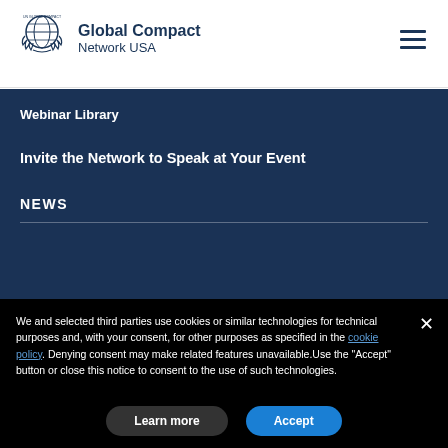[Figure (logo): UN Global Compact Network USA logo with globe icon and laurel wreath]
Global Compact Network USA
Webinar Library
Invite the Network to Speak at Your Event
NEWS
We and selected third parties use cookies or similar technologies for technical purposes and, with your consent, for other purposes as specified in the cookie policy. Denying consent may make related features unavailable.Use the “Accept” button or close this notice to consent to the use of such technologies.